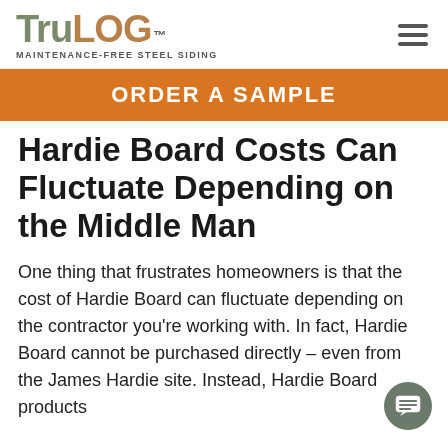TruLog™ MAINTENANCE-FREE STEEL SIDING
ORDER A SAMPLE
Hardie Board Costs Can Fluctuate Depending on the Middle Man
One thing that frustrates homeowners is that the cost of Hardie Board can fluctuate depending on the contractor you're working with. In fact, Hardie Board cannot be purchased directly – even from the James Hardie site. Instead, Hardie Board products